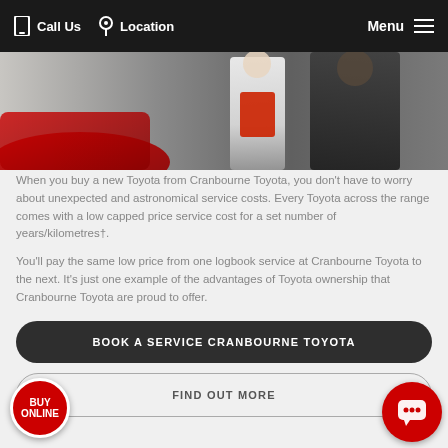Call Us   Location   Menu
[Figure (photo): Dealership photo showing a person in white shirt holding a red clipboard next to a red car, with a dark-suited figure beside them]
When you buy a new Toyota from Cranbourne Toyota, you don't have to worry about unexpected and astronomical service costs. Every Toyota across the range comes with a low capped price service cost for a set number of years/kilometres†.
You'll pay the same low price from one logbook service at Cranbourne Toyota to the next. It's just one example of the advantages of Toyota ownership that Cranbourne Toyota are proud to offer.
BOOK A SERVICE CRANBOURNE TOYOTA
FIND OUT MORE